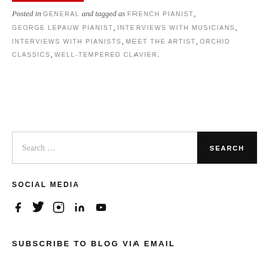Posted in GENERAL and tagged as FRENCH PIANIST, GEORGE LEPAUW PIANIST, INTERVIEWS WITH MUSICIANS, INTERVIEWS WITH PIANISTS, MEET THE ARTIST, ORCHID CLASSICS, WELL-TEMPERED CLAVIER.
Search …
SOCIAL MEDIA
[Figure (other): Social media icons: Facebook, Twitter, Instagram, LinkedIn, YouTube]
SUBSCRIBE TO BLOG VIA EMAIL